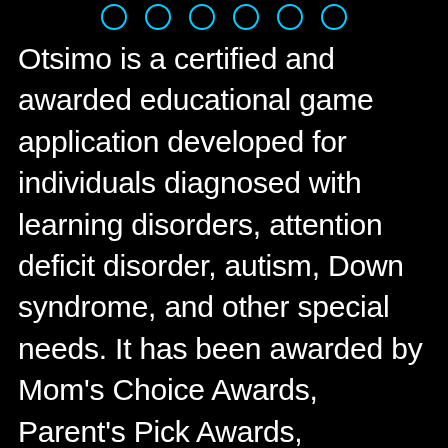● ● ● ● ● ●
Otsimo is a certified and awarded educational game application developed for individuals diagnosed with learning disorders, attention deficit disorder, autism, Down syndrome, and other special needs. It has been awarded by Mom's Choice Awards, Parent's Pick Awards, Academics' Choice Mind-Building Media and Toys Award, certified by Education Alliance Finland, picked for HundrED Global Collection of 2020 and 2021, and as well as being chosen as the best autism app by many autism